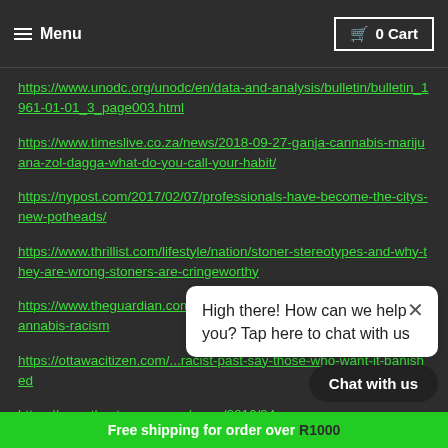Menu  0 Cart
https://www.unodc.org/unodc/en/data-and-analysis/bulletin/bulletin_1961-01-01_3_page003.html
https://www.timeslive.co.za/news/2018-09-27-ganja-cannabis-marijuana-zol-dagga-what-do-you-call-your-habit/
https://nypost.com/2017/02/07/professionals-have-become-the-citys-new-potheads/
https://www.thrillist.com/lifestyle/nation/stoner-stereotypes-and-why-they-are-wrong-stoners-are-cringeworthy
https://www.theguardian.com/society/2018/jan/29/marijuana-name-cannabis-racism
https://ottawacitizen.com/...racist-past-say-those-who-want-it-banished
https://www.thestranger.com/news/2016/04...
[Figure (screenshot): Chat popup overlay: 'High there! How can we help you? Tap here to chat with us' with close button and 'Chat with us' dark button below.]
Free shipping for order over R1000